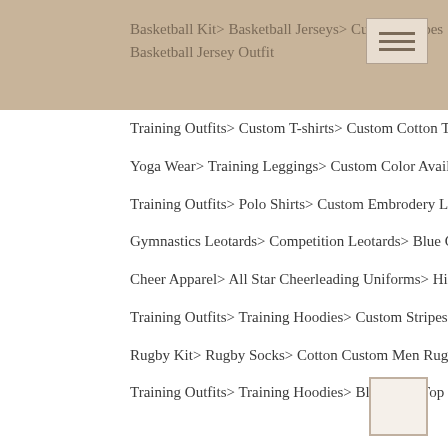Basketball Kit> Basketball Jerseys> Custom Stripes Basketball Jersey Outfit
Training Outfits> Custom T-shirts> Custom Cotton T Shirts For Men
Yoga Wear> Training Leggings> Custom Color Available Leggings For Women
Training Outfits> Polo Shirts> Custom Embrodery Logo Polo Shirts
Gymnastics Leotards> Competition Leotards> Blue Ombre Lycra Gymnastics Uniforms
Cheer Apparel> All Star Cheerleading Uniforms> High School Cheerleading Uniforms For Youth
Training Outfits> Training Hoodies> Custom Stripes Mens Running Tracksuit
Rugby Kit> Rugby Socks> Cotton Custom Men Rugby Socks
Training Outfits> Training Hoodies> Blue Crop Top Running Hoodie For Women